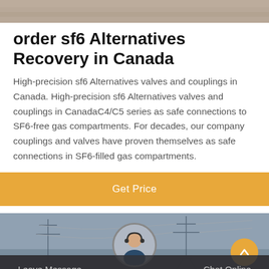[Figure (photo): Top partial image, appears to be an outdoor scene with muted warm tones]
order sf6 Alternatives Recovery in Canada
High-precision sf6 Alternatives valves and couplings in Canada. High-precision sf6 Alternatives valves and couplings in CanadaC4/C5 series as safe connections to SF6-free gas compartments. For decades, our company couplings and valves have proven themselves as safe connections in SF6-filled gas compartments.
Get Price
[Figure (photo): Bottom image showing electrical transmission towers/infrastructure with a customer service agent circle and chat bar overlay showing Leave Message and Chat Online options]